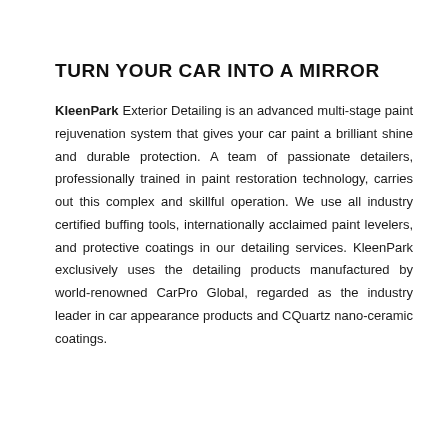TURN YOUR CAR INTO A MIRROR
KleenPark Exterior Detailing is an advanced multi-stage paint rejuvenation system that gives your car paint a brilliant shine and durable protection. A team of passionate detailers, professionally trained in paint restoration technology, carries out this complex and skillful operation. We use all industry certified buffing tools, internationally acclaimed paint levelers, and protective coatings in our detailing services. KleenPark exclusively uses the detailing products manufactured by world-renowned CarPro Global, regarded as the industry leader in car appearance products and CQuartz nano-ceramic coatings.